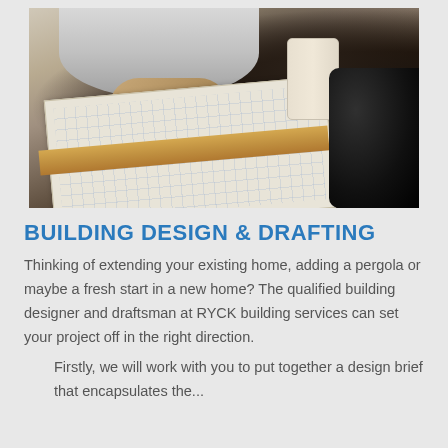[Figure (photo): A man in a grey RYCK-branded shirt leaning over a drafting table, drawing on architectural blueprints. A rolled paper drawing is visible on the right, and a dark camera is partially visible in the far right. The scene is set on a dark wooden table.]
BUILDING DESIGN & DRAFTING
Thinking of extending your existing home, adding a pergola or maybe a fresh start in a new home? The qualified building designer and draftsman at RYCK building services can set your project off in the right direction.
Firstly, we will work with you to put together a design brief that encapsulates the...